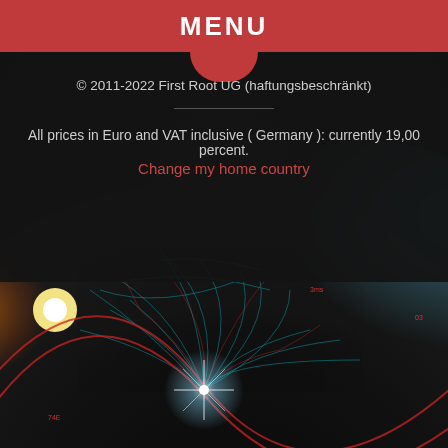MENU
© 2011-2022 First Root UG (haftungsbeschränkt)
All prices in Euro and VAT inclusive ( Germany ): currently 19,00 percent.
Change my home country
[Figure (illustration): Stylized dark globe with glowing network connections, blue atmospheric glow on the right, orange/yellow glow on the left (sunrise), red curved lines overlaying the globe, and a bright white star-burst center. Hexagonal pattern visible in background.]